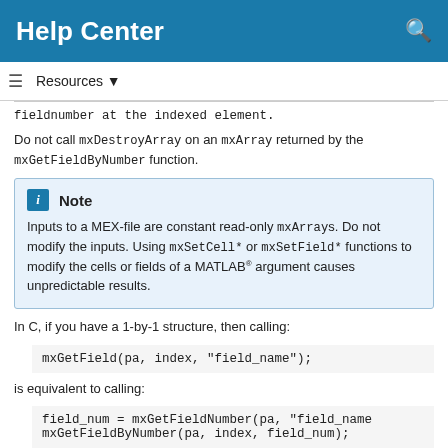Help Center
fieldnumber at the indexed element.
Do not call mxDestroyArray on an mxArray returned by the mxGetFieldByNumber function.
Note
Inputs to a MEX-file are constant read-only mxArrays. Do not modify the inputs. Using mxSetCell* or mxSetField* functions to modify the cells or fields of a MATLAB® argument causes unpredictable results.
In C, if you have a 1-by-1 structure, then calling:
mxGetField(pa, index, "field_name");
is equivalent to calling:
field_num = mxGetFieldNumber(pa, "field_name
mxGetFieldByNumber(pa, index, field_num);